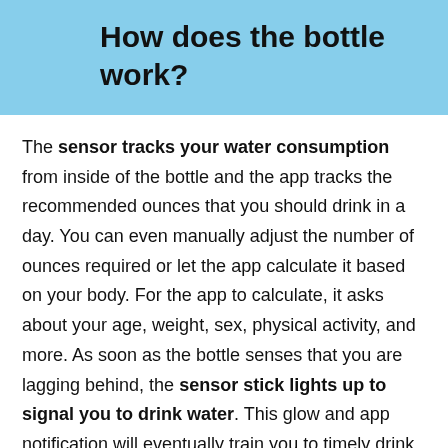How does the bottle work?
The sensor tracks your water consumption from inside of the bottle and the app tracks the recommended ounces that you should drink in a day. You can even manually adjust the number of ounces required or let the app calculate it based on your body. For the app to calculate, it asks about your age, weight, sex, physical activity, and more. As soon as the bottle senses that you are lagging behind, the sensor stick lights up to signal you to drink water. This glow and app notification will eventually train you to timely drink water.